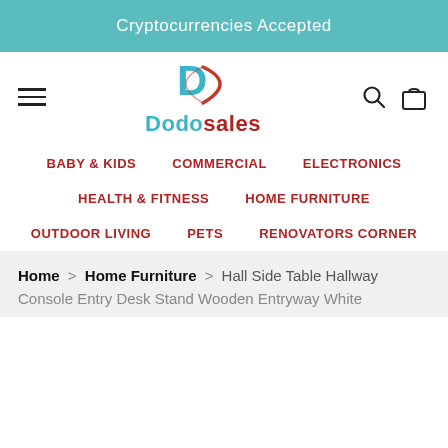Cryptocurrencies Accepted
[Figure (logo): Dodosales logo with stylized D and red arc, teal D letter, text Dodosales]
BABY & KIDS
COMMERCIAL
ELECTRONICS
HEALTH & FITNESS
HOME FURNITURE
OUTDOOR LIVING
PETS
RENOVATORS CORNER
Home > Home Furniture > Hall Side Table Hallway Console Entry Desk Stand Wooden Entryway White